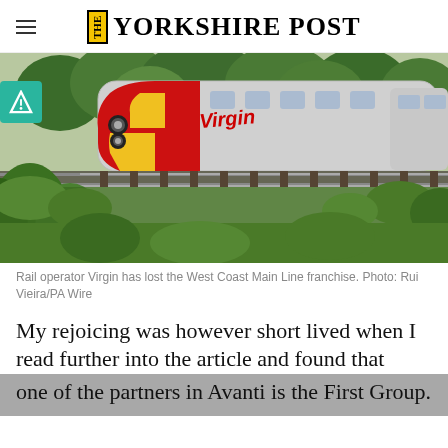THE YORKSHIRE POST
[Figure (photo): A Virgin Trains Pendolino train running on tracks surrounded by green trees and vegetation. The train is red, yellow, and silver with the Virgin branding visible.]
Rail operator Virgin has lost the West Coast Main Line franchise. Photo: Rui Vieira/PA Wire
My rejoicing was however short lived when I read further into the article and found that one of the partners in Avanti is the First Group.